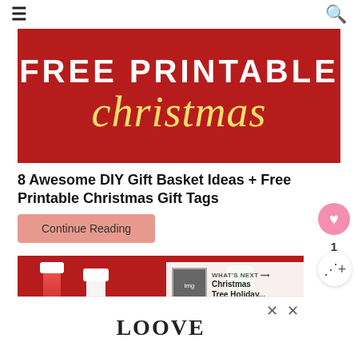☰  🔍
[Figure (illustration): Red background banner with white bold text 'FREE PRINTABLE' and large yellow italic script text 'christmas']
8 Awesome DIY Gift Basket Ideas + Free Printable Christmas Gift Tags
Continue Reading
[Figure (photo): Photo of a DIY gift basket with red shredded paper, nail polish bottles in red, white, and a green bottle]
WHAT'S NEXT → Christmas Tree Holiday...